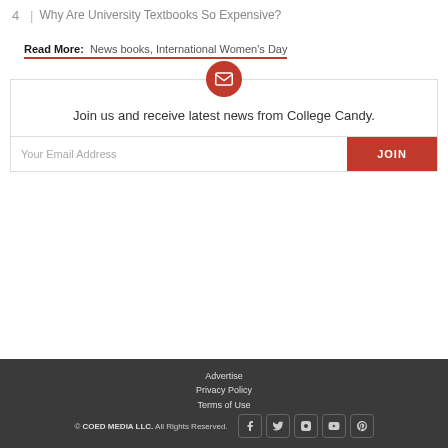4 | Why Are University Textbooks So Expensive?
Read More: News books, International Women's Day
[Figure (other): Email signup widget with red circular envelope icon, text 'Join us and receive latest news from College Candy.', email input field and red JOIN button]
Advertise | Privacy Policy | Terms of Use | © COED MEDIA LLC. All Rights Reserved.